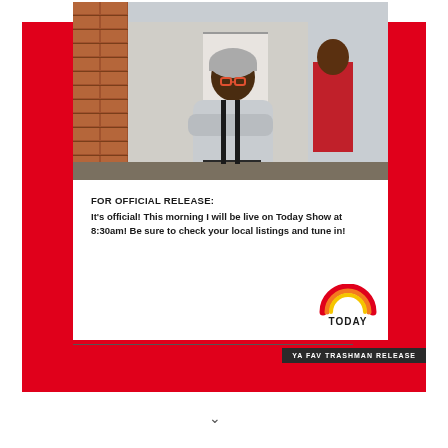[Figure (photo): Man wearing a grey puffer jacket and knit hat with glasses, arms crossed, standing in front of a brick wall outdoors in winter]
FOR OFFICIAL RELEASE:
It's official! This morning I will be live on Today Show at 8:30am! Be sure to check your local listings and tune in!
[Figure (logo): TODAY show logo with rainbow arc in red, orange, yellow colors above the word TODAY in dark text]
YA FAV TRASHMAN RELEASE